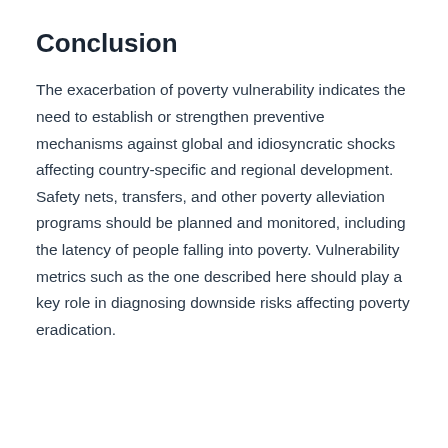Conclusion
The exacerbation of poverty vulnerability indicates the need to establish or strengthen preventive mechanisms against global and idiosyncratic shocks affecting country-specific and regional development. Safety nets, transfers, and other poverty alleviation programs should be planned and monitored, including the latency of people falling into poverty. Vulnerability metrics such as the one described here should play a key role in diagnosing downside risks affecting poverty eradication.